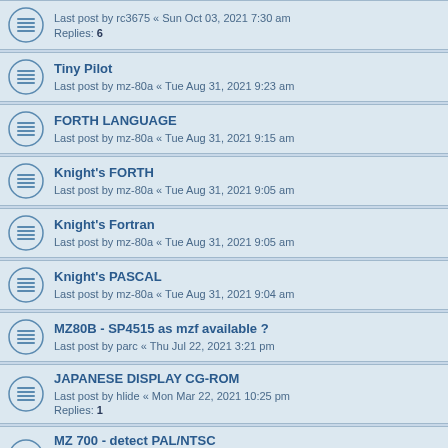Last post by rc3675 « Sun Oct 03, 2021 7:30 am
Replies: 6
Tiny Pilot
Last post by mz-80a « Tue Aug 31, 2021 9:23 am
FORTH LANGUAGE
Last post by mz-80a « Tue Aug 31, 2021 9:15 am
Knight's FORTH
Last post by mz-80a « Tue Aug 31, 2021 9:05 am
Knight's Fortran
Last post by mz-80a « Tue Aug 31, 2021 9:05 am
Knight's PASCAL
Last post by mz-80a « Tue Aug 31, 2021 9:04 am
MZ80B - SP4515 as mzf available ?
Last post by parc « Thu Jul 22, 2021 3:21 pm
JAPANESE DISPLAY CG-ROM
Last post by hlide « Mon Mar 22, 2021 10:25 pm
Replies: 1
MZ 700 - detect PAL/NTSC
Last post by hlide « Mon Jul 06, 2020 7:29 pm
Replies: 18
700/800 - are custom taperoutines common?
Last post by Jo Even « Fri Apr 17, 2020 10:28 am
Replies: 17